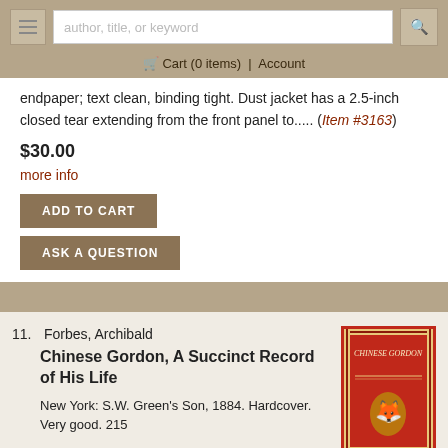author, title, or keyword | Cart (0 items) | Account
endpaper; text clean, binding tight. Dust jacket has a 2.5-inch closed tear extending from the front panel to..... (Item #3163)
$30.00
more info
ADD TO CART
ASK A QUESTION
11. Forbes, Archibald
Chinese Gordon, A Succinct Record of His Life
New York: S.W. Green's Son, 1884. Hardcover. Very good. 215
[Figure (photo): Red hardcover book titled 'Chinese Gordon' with decorative border and gold emblem on cover]